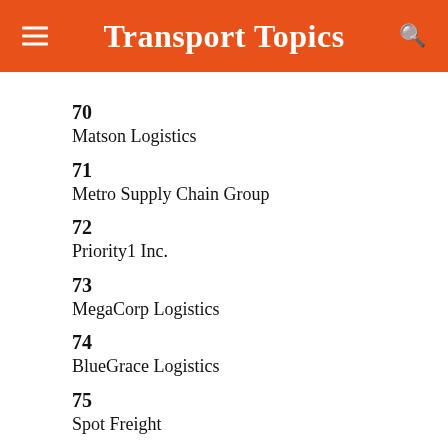Transport Topics
70
Matson Logistics
71
Metro Supply Chain Group
72
Priority1 Inc.
73
MegaCorp Logistics
74
BlueGrace Logistics
75
Spot Freight
76
Day & Ross
77
Covenant Logistics Group
78
Demi Logistics